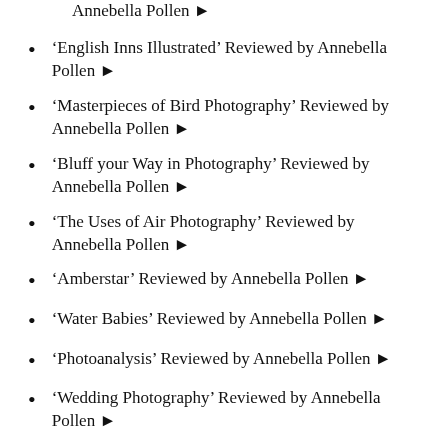Annebella Pollen ▶
'English Inns Illustrated' Reviewed by Annebella Pollen ▶
'Masterpieces of Bird Photography' Reviewed by Annebella Pollen ▶
'Bluff your Way in Photography' Reviewed by Annebella Pollen ▶
'The Uses of Air Photography' Reviewed by Annebella Pollen ▶
'Amberstar' Reviewed by Annebella Pollen ▶
'Water Babies' Reviewed by Annebella Pollen ▶
'Photoanalysis' Reviewed by Annebella Pollen ▶
'Wedding Photography' Reviewed by Annebella Pollen ▶
'Photographs of the Unknown' Reviewed by Annebella Pollen ▶
'Cats and My Camera' Reviewed by